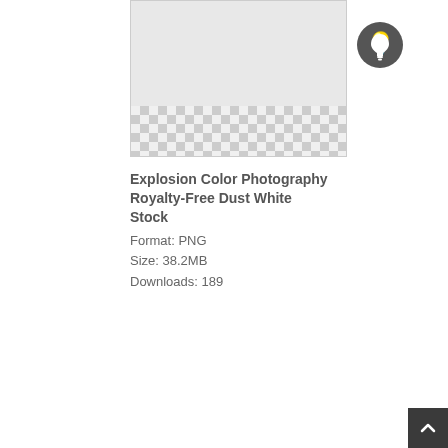[Figure (illustration): Stock image preview thumbnail showing a partially transparent image with checkerboard pattern at bottom indicating transparency, light gray area at top, bordered box]
[Figure (illustration): Dark circular button with white lightbulb icon]
Explosion Color Photography Royalty-Free Dust White Stock
Format: PNG
Size: 38.2MB
Downloads: 189
[Figure (illustration): Dark square back-to-top button with white upward chevron arrow in bottom-right corner]